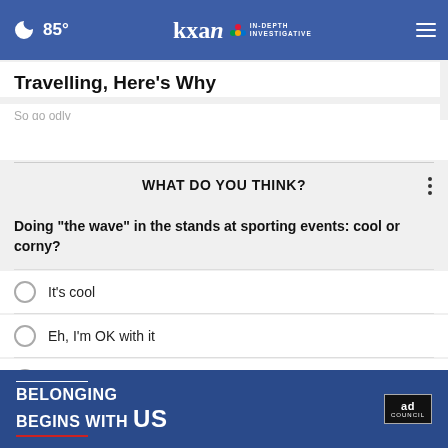🌙 85° | KXAN IN-DEPTH INVESTIGATIVE
Travelling, Here's Why
Sogoodly
WHAT DO YOU THINK?
Doing "the wave" in the stands at sporting events: cool or corny?
It's cool
Eh, I'm OK with it
It's corny
Other / No opinion
[Figure (other): Ad banner: BELONGING BEGINS WITH US — Ad Council]